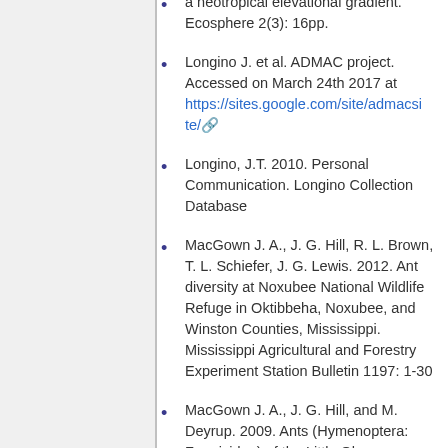a neotropical elevational gradient. Ecosphere 2(3): 16pp.
Longino J. et al. ADMAC project. Accessed on March 24th 2017 at https://sites.google.com/site/admacsite/
Longino, J.T. 2010. Personal Communication. Longino Collection Database
MacGown J. A., J. G. Hill, R. L. Brown, T. L. Schiefer, J. G. Lewis. 2012. Ant diversity at Noxubee National Wildlife Refuge in Oktibbeha, Noxubee, and Winston Counties, Mississippi. Mississippi Agricultural and Forestry Experiment Station Bulletin 1197: 1-30
MacGown J. A., J. G. Hill, and M. Deyrup. 2009. Ants (Hymenoptera: Formicidae) of the Little Ohoopee